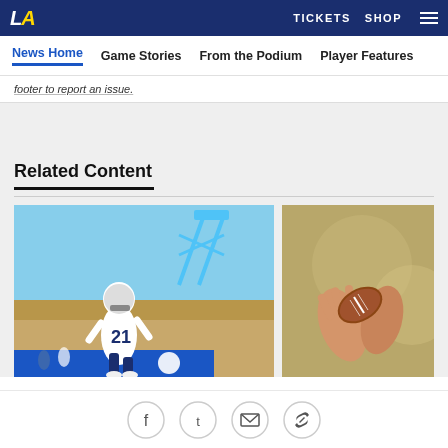LA TICKETS SHOP
News Home  Game Stories  From the Podium  Player Features
footer to report an issue.
Related Content
[Figure (photo): NFL player wearing number 21 in white LA Rams uniform running at practice with a scissor lift in the background]
[Figure (photo): Close-up of hands catching or holding a football]
Social share icons: Facebook, Twitter, Email, Link